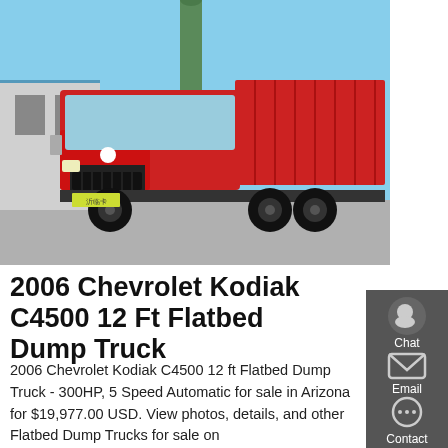[Figure (photo): Red SITRAK dump truck parked in a lot with a blue sky and industrial building in the background. The truck has a large red dump bed and Chinese license plate.]
2006 Chevrolet Kodiak C4500 12 Ft Flatbed Dump Truck
2006 Chevrolet Kodiak C4500 12 ft Flatbed Dump Truck - 300HP, 5 Speed Automatic for sale in Arizona for $19,977.00 USD. View photos, details, and other Flatbed Dump Trucks for sale on MyLittleSalesman.com. 202,237 Miles, Stock # 2558,